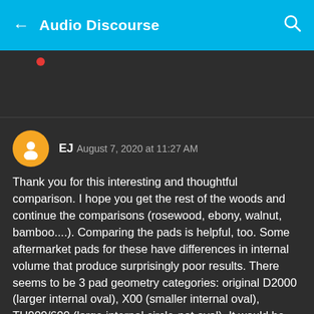Audio Discourse
EJ  August 7, 2020 at 11:27 AM
Thank you for this interesting and thoughtful comparison. I hope you get the rest of the woods and continue the comparisons (rosewood, ebony, walnut, bamboo....). Comparing the pads is helpful, too. Some aftermarket pads for these have differences in internal volume that produce surprisingly poor results. There seems to be 3 pad geometry categories: original D2000 (larger internal oval), X00 (smaller internal oval), TH900/600 (large internal circle-not oval). It would be interesting to see a matrix and overlay of wood/pad combos. Also distortion and time-domain charts so we can see the